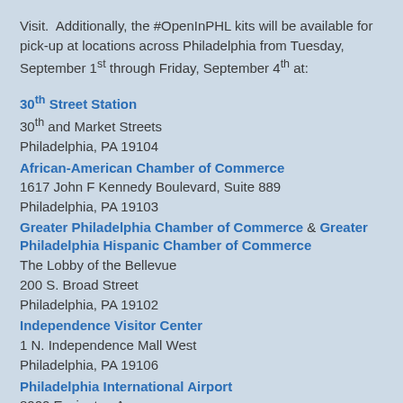Visit. Additionally, the #OpenInPHL kits will be available for pick-up at locations across Philadelphia from Tuesday, September 1st through Friday, September 4th at:
30th Street Station
30th and Market Streets
Philadelphia, PA 19104
African-American Chamber of Commerce
1617 John F Kennedy Boulevard, Suite 889
Philadelphia, PA 19103
Greater Philadelphia Chamber of Commerce & Greater Philadelphia Hispanic Chamber of Commerce
The Lobby of the Bellevue
200 S. Broad Street
Philadelphia, PA 19102
Independence Visitor Center
1 N. Independence Mall West
Philadelphia, PA 19106
Philadelphia International Airport
8000 Essington Avenue
Philadelphia, PA 19153